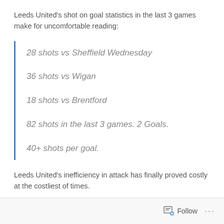Leeds United's shot on goal statistics in the last 3 games make for uncomfortable reading:
28 shots vs Sheffield Wednesday
36 shots vs Wigan
18 shots vs Brentford
82 shots in the last 3 games. 2 Goals.
40+ shots per goal.
Leeds United's inefficiency in attack has finally proved costly at the costliest of times.
Follow   ...